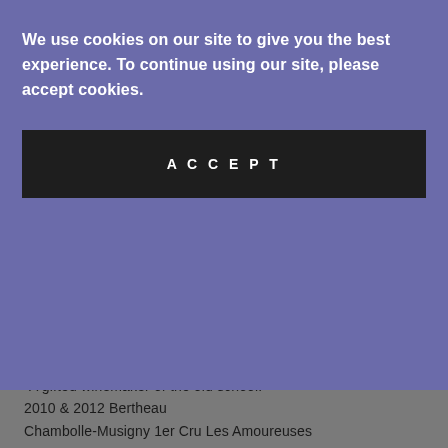We use cookies on our site to give you the best experience. To continue using our site, please accept cookies.
ACCEPT
Amoureuses
Posted by Ian McFadden
[Figure (illustration): Social sharing icons: email, facebook, twitter, pinterest]
"A gifted winemaker of the old school." 2010 & 2012 Bertheau Chambolle-Musigny 1er Cru Les Amoureuses